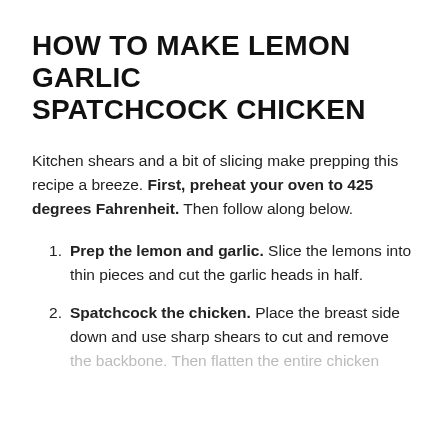HOW TO MAKE LEMON GARLIC SPATCHCOCK CHICKEN
Kitchen shears and a bit of slicing make prepping this recipe a breeze. First, preheat your oven to 425 degrees Fahrenheit. Then follow along below.
Prep the lemon and garlic. Slice the lemons into thin pieces and cut the garlic heads in half.
Spatchcock the chicken. Place the breast side down and use sharp shears to cut and remove the backbone. Then flatten the entire chicken